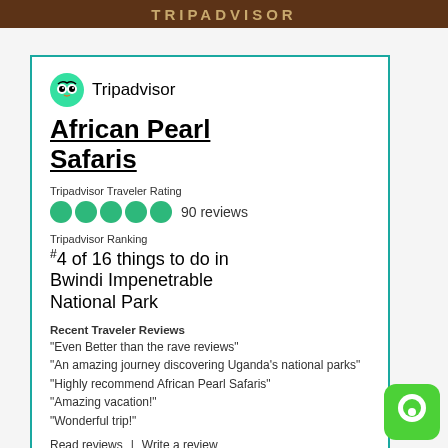TRIPADVISOR
[Figure (logo): Tripadvisor logo with owl icon and brand name]
African Pearl Safaris
Tripadvisor Traveler Rating
90 reviews
Tripadvisor Ranking
#4 of 16 things to do in Bwindi Impenetrable National Park
Recent Traveler Reviews
“Even Better than the rave reviews”
“An amazing journey discovering Uganda’s national parks”
“Highly recommend African Pearl Safaris”
“Amazing vacation!”
“Wonderful trip!”
Read reviews  |  Write a review